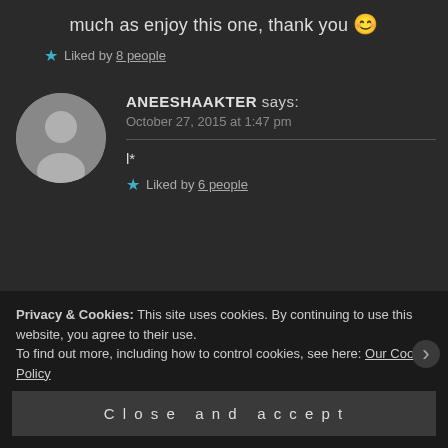much as enjoy this one, thank you 😊
★ Liked by 8 people
ANEESHAAKTER says:
October 27, 2015 at 1:47 pm
l*
★ Liked by 6 people
Privacy & Cookies: This site uses cookies. By continuing to use this website, you agree to their use.
To find out more, including how to control cookies, see here: Our Cookie Policy
Close and accept